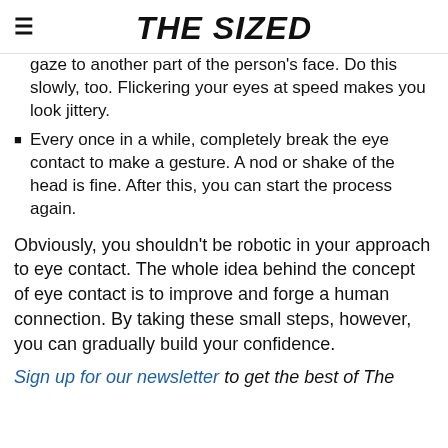THE SIZED
gaze to another part of the person's face. Do this slowly, too. Flickering your eyes at speed makes you look jittery.
Every once in a while, completely break the eye contact to make a gesture. A nod or shake of the head is fine. After this, you can start the process again.
Obviously, you shouldn't be robotic in your approach to eye contact. The whole idea behind the concept of eye contact is to improve and forge a human connection. By taking these small steps, however, you can gradually build your confidence.
Sign up for our newsletter to get the best of The